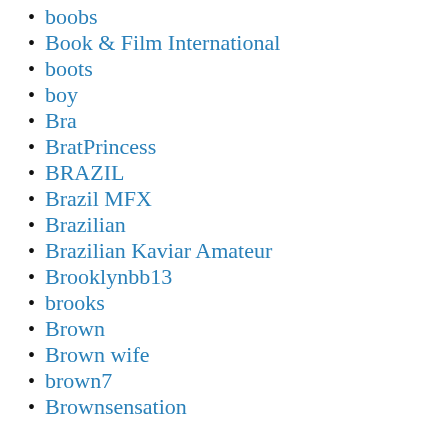boobs
Book & Film International
boots
boy
Bra
BratPrincess
BRAZIL
Brazil MFX
Brazilian
Brazilian Kaviar Amateur
Brooklynbb13
brooks
Brown
Brown wife
brown7
Brownsensation